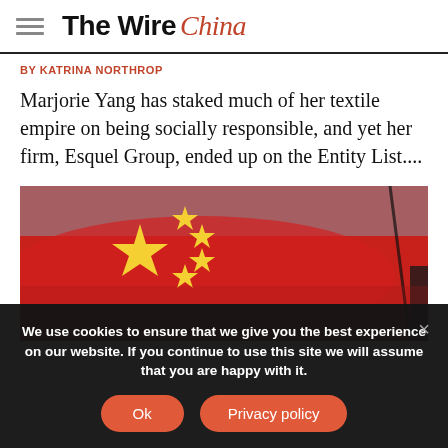The Wire China
BY KATRINA NORTHROP
Marjorie Yang has staked much of her textile empire on being socially responsible, and yet her firm, Esquel Group, ended up on the Entity List....
[Figure (photo): Close-up photograph of a Chinese flag waving, showing red background with large yellow star and four smaller yellow stars]
We use cookies to ensure that we give you the best experience on our website. If you continue to use this site we will assume that you are happy with it.